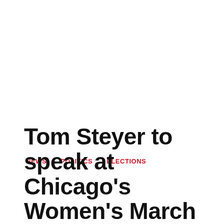NEWS   POLITICS   ELECTIONS
Tom Steyer to speak at Chicago's Women's March